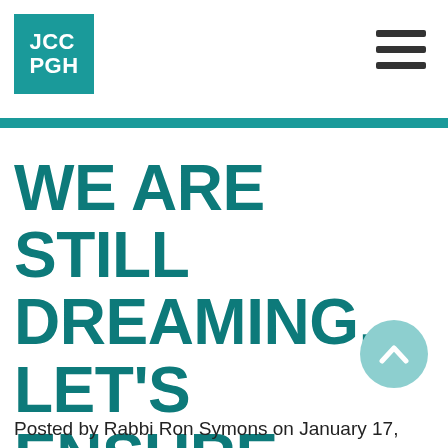JCC PGH
WE ARE STILL DREAMING. LET'S ENSURE EVERY PERSON IS COUNTED
Posted by Rabbi Ron Symons on January 17,